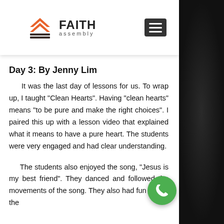[Figure (logo): Faith Assembly church logo with orange chevron/arrow icon and text 'FAITH assembly']
Day 3: By Jenny Lim
It was the last day of lessons for us. To wrap up, I taught "Clean Hearts". Having "clean hearts" means "to be pure and make the right choices". I paired this up with a lesson video that explained what it means to have a pure heart. The students were very engaged and had clear understanding.
The students also enjoyed the song, "Jesus is my best friend". They danced and followed the movements of the song. They also had fun during the